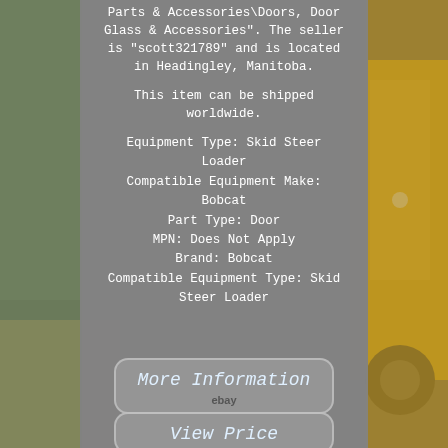[Figure (photo): Background photo showing a construction yard with a yellow skid steer loader on the right side and trees/cars visible on the left side. A gray semi-transparent overlay panel covers the center of the image.]
Parts & Accessories\Doors, Door Glass & Accessories". The seller is "scott321789" and is located in Headingley, Manitoba.
This item can be shipped worldwide.
Equipment Type: Skid Steer Loader
Compatible Equipment Make: Bobcat
Part Type: Door
MPN: Does Not Apply
Brand: Bobcat
Compatible Equipment Type: Skid Steer Loader
More Information
ebay
View Price